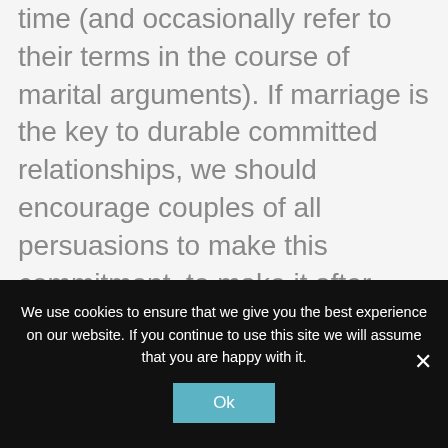time (and occasionally refer to their terms in the course of marital arguments). If marriage is the key to durable committed relationships, we should encourage couples of all persuasions to make this commitment, to make it after thoughtful consideration, and to do their best to make it work. That's what the Marriage Foundation says its all about and in that I have no beef with it, although I understand that marriage is not for everyone and there are other valid ways to make a solemn personal commitment apart from marriage (you can read my
We use cookies to ensure that we give you the best experience on our website. If you continue to use this site we will assume that you are happy with it.